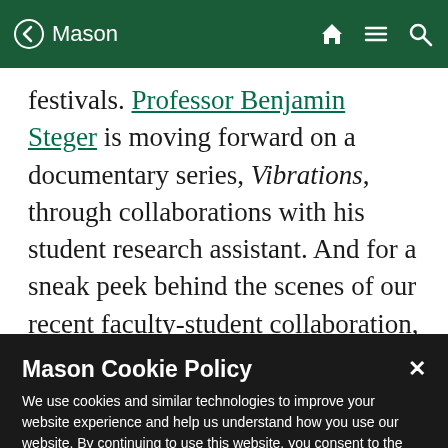Mason
festivals. Professor Benjamin Steger is moving forward on a documentary series, Vibrations, through collaborations with his student research assistant. And for a sneak peek behind the scenes of our recent faculty-student collaboration, The Pick Up, check out the video edited by Amanda Bowen (Film and Video Studies, BA '17) and Britney Flores (Film and
Mason Cookie Policy
We use cookies and similar technologies to improve your website experience and help us understand how you use our website. By continuing to use this website, you consent to the usage of cookies. Learn more about our Cookie Policy
Cookie Preferences   Accept Cookies